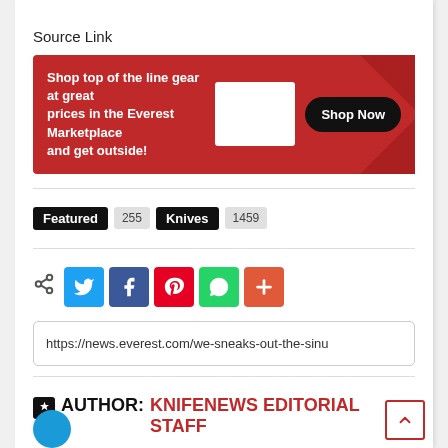Source Link
[Figure (infographic): Red advertisement banner: 'Shop top of the line gear at great prices in the Everest Marketplace and get outside!' with a white image placeholder box and a black 'Shop Now' button]
Featured  255    Knives  1459
[Figure (infographic): Social share icons row: share icon, Twitter (blue), Facebook (dark blue), Pinterest (red), WhatsApp (green), More/Plus (orange-red)]
https://news.everest.com/we-sneaks-out-the-sinu
AUTHOR: KNIFENEWS EDITORIAL STAFF
[Figure (illustration): Blue circular avatar icon (partially visible at bottom)]